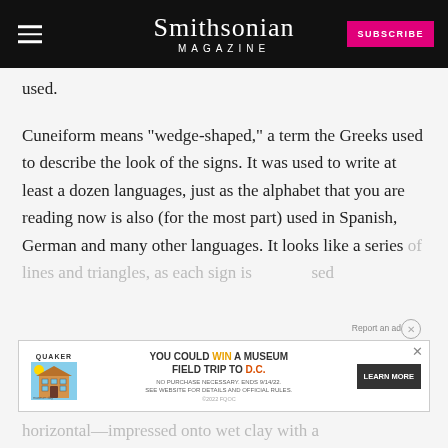Smithsonian Magazine | SUBSCRIBE
used.
Cuneiform means "wedge-shaped," a term the Greeks used to describe the look of the signs. It was used to write at least a dozen languages, just as the alphabet that you are reading now is also (for the most part) used in Spanish, German and many other languages. It looks like a series of lines and triangles, as each sign is composed of many strokes—some vertical, some horizontal—impressed onto wet clay with a
[Figure (screenshot): Advertisement banner: Quaker and Museum Day promotion. Text reads 'YOU COULD WIN A MUSEUM FIELD TRIP TO D.C. NO PURCHASE NECESSARY. ENDS 9/14/22. SEE WEBSITE FOR DETAILS AND OFFICIAL RULES. LEARN MORE'. Close button and 'Report an ad' label visible.]